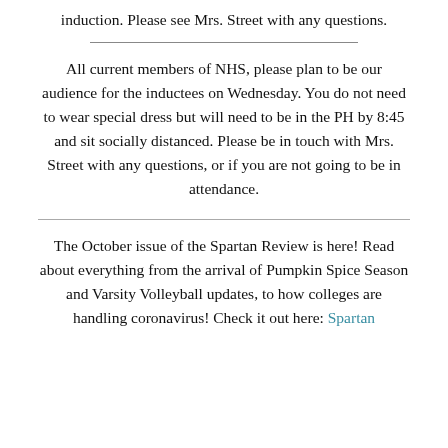induction.  Please see Mrs. Street with any questions.
All current members of NHS, please plan to be our audience for the inductees on Wednesday.  You do not need to wear special dress but will need to be in the PH by 8:45 and sit socially distanced.  Please be in touch with Mrs. Street with any questions, or if you are not going to be in attendance.
The October issue of the Spartan Review is here! Read about everything from the arrival of Pumpkin Spice Season and Varsity Volleyball updates, to how colleges are handling coronavirus! Check it out here: Spartan